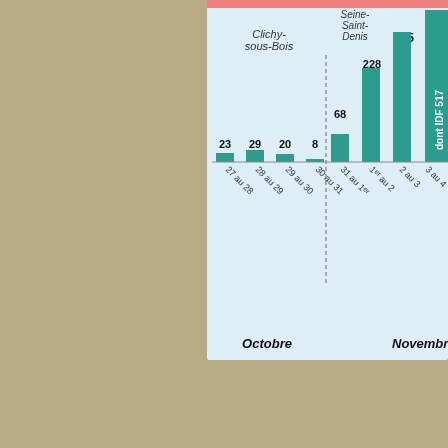[Figure (bar-chart): Incidents par nuit (Octobre–Novembre)]
Let?s pretend there isn?t any alarm. More to the point, let?s call it all